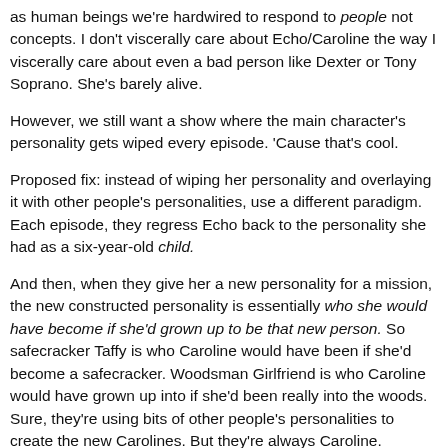as human beings we're hardwired to respond to people not concepts. I don't viscerally care about Echo/Caroline the way I viscerally care about even a bad person like Dexter or Tony Soprano. She's barely alive.
However, we still want a show where the main character's personality gets wiped every episode. 'Cause that's cool.
Proposed fix: instead of wiping her personality and overlaying it with other people's personalities, use a different paradigm. Each episode, they regress Echo back to the personality she had as a six-year-old child.
And then, when they give her a new personality for a mission, the new constructed personality is essentially who she would have become if she'd grown up to be that new person. So safecracker Taffy is who Caroline would have been if she'd become a safecracker. Woodsman Girlfriend is who Caroline would have grown up into if she'd been really into the woods. Sure, they're using bits of other people's personalities to create the new Carolines. But they're always Caroline.